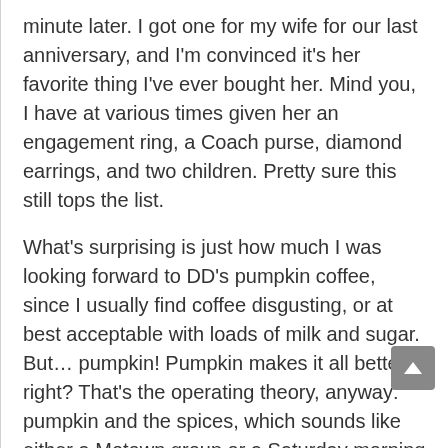minute later. I got one for my wife for our last anniversary, and I'm convinced it's her favorite thing I've ever bought her. Mind you, I have at various times given her an engagement ring, a Coach purse, diamond earrings, and two children. Pretty sure this still tops the list.
What's surprising is just how much I was looking forward to DD's pumpkin coffee, since I usually find coffee disgusting, or at best acceptable with loads of milk and sugar. But… pumpkin! Pumpkin makes it all better, right? That's the operating theory, anyway: pumpkin and the spices, which sounds like either a Motown group or a Saturday morning cartoon. Don't pretend you wouldn't watch it.
I don't want to spend too much time on the